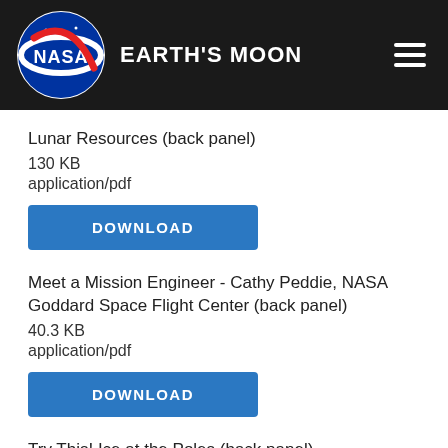NASA EARTH'S MOON
Lunar Resources (back panel)
130 KB
application/pdf
DOWNLOAD
Meet a Mission Engineer - Cathy Peddie, NASA Goddard Space Flight Center (back panel)
40.3 KB
application/pdf
DOWNLOAD
Try This! Ice at the Poles (back panel)
99.1 KB